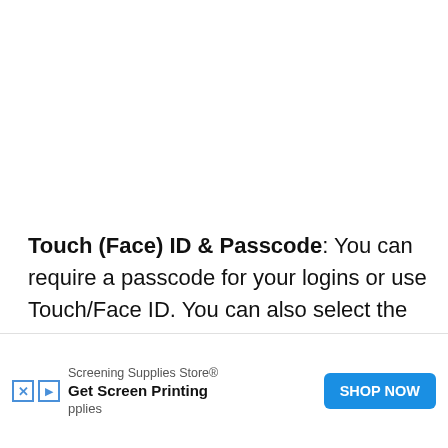Touch (Face) ID & Passcode: You can require a passcode for your logins or use Touch/Face ID. You can also select the amount of time before it's required.
Data Management: Review websites and enable or disable the toggles for clearing your data cookies
[Figure (screenshot): Advertisement overlay from Screening Supplies Store: 'Get Screen Printing Supplies' with a blue SHOP NOW button and close/play icons.]